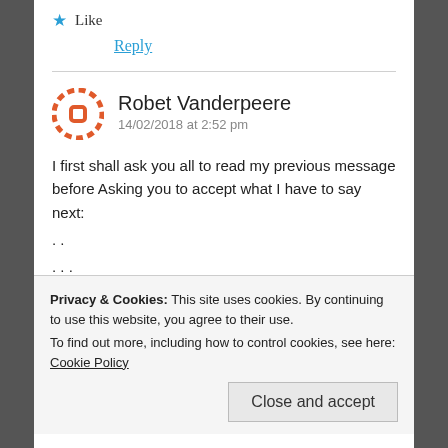★ Like
Reply
Robet Vanderpeere
14/02/2018 at 2:52 pm
I first shall ask you all to read my previous message before Asking you to accept what I have to say next:
. .
. . .
'Make no mistake . . . women are not a friend to be had', nor can they be, however removed their lives
Privacy & Cookies: This site uses cookies. By continuing to use this website, you agree to their use.
To find out more, including how to control cookies, see here: Cookie Policy
Close and accept